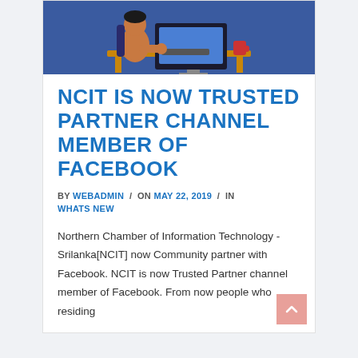[Figure (illustration): Illustration of a person sitting at a desk working on a computer, blue background with orange/brown character]
NCIT IS NOW TRUSTED PARTNER CHANNEL MEMBER OF FACEBOOK
BY WEBADMIN / ON MAY 22, 2019 / IN WHATS NEW
Northern Chamber of Information Technology -Srilanka[NCIT] now Community partner with Facebook. NCIT is now Trusted Partner channel member of Facebook. From now people who residing